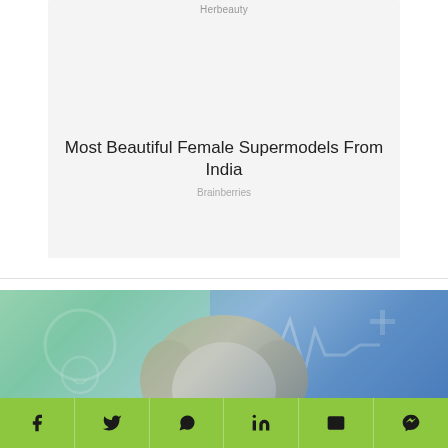Herbeauty
Most Beautiful Female Supermodels From India
Brainberries
[Figure (photo): Blonde woman with medical/healthcare background imagery]
[Figure (infographic): Social share bar with Facebook, Twitter, WhatsApp, LinkedIn, Email, and Messenger icons on green background]